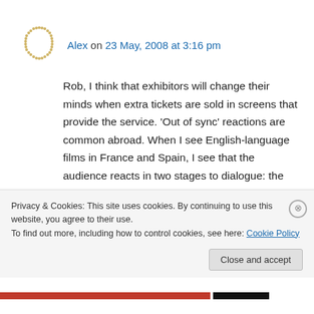[Figure (logo): Circular dot pattern avatar/logo icon in golden/brown color]
Alex on 23 May, 2008 at 3:16 pm
Rob, I think that exhibitors will change their minds when extra tickets are sold in screens that provide the service. ‘Out of sync’ reactions are common abroad. When I see English-language films in France and Spain, I see that the audience reacts in two stages to dialogue: the first group are those that understand English. The second group react once they read the
Privacy & Cookies: This site uses cookies. By continuing to use this website, you agree to their use.
To find out more, including how to control cookies, see here: Cookie Policy